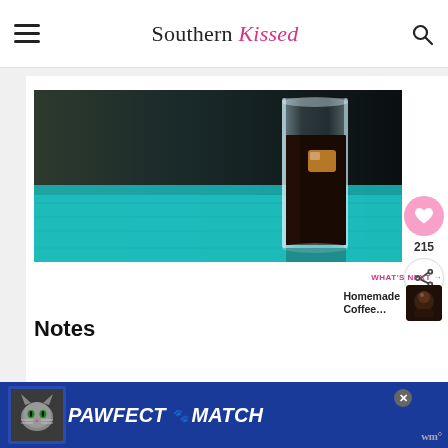Southern Kissed
[Figure (photo): A tall clear glass filled with dark iced coffee with an ice cube, set on a teal/turquoise wooden surface against a dark background]
Notes
[Figure (other): PAWFECT MATCH advertisement banner with a cat image on blue background]